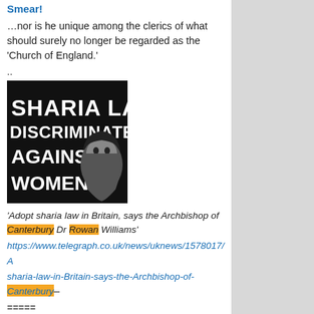Smear!
…nor is he unique among the clerics of what should surely no longer be regarded as the 'Church of England.'
..
[Figure (illustration): Black and white graphic with text 'SHARIA LAW DISCRIMINATES AGAINST WOMEN' alongside an image of a woman's face]
'Adopt sharia law in Britain, says the Archbishop of Canterbury Dr Rowan Williams'
https://www.telegraph.co.uk/news/uknews/1578017/A sharia-law-in-Britain-says-the-Archbishop-of-Canterbury–
=====
And then there was this: